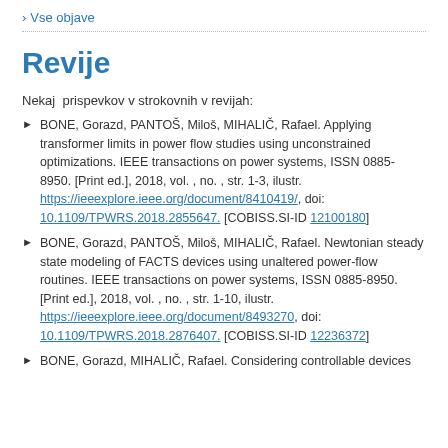> Vse objave
Revije
Nekaj  prispevkov v strokovnih v revijah:
BONE, Gorazd, PANTOŠ, Miloš, MIHALIČ, Rafael. Applying transformer limits in power flow studies using unconstrained optimizations. IEEE transactions on power systems, ISSN 0885-8950. [Print ed.], 2018, vol. , no. , str. 1-3, ilustr. https://ieeexplore.ieee.org/document/8410419/, doi: 10.1109/TPWRS.2018.2855647. [COBISS.SI-ID 12100180]
BONE, Gorazd, PANTOŠ, Miloš, MIHALIČ, Rafael. Newtonian steady state modeling of FACTS devices using unaltered power-flow routines. IEEE transactions on power systems, ISSN 0885-8950. [Print ed.], 2018, vol. , no. , str. 1-10, ilustr. https://ieeexplore.ieee.org/document/8493270, doi: 10.1109/TPWRS.2018.2876407. [COBISS.SI-ID 12236372]
BONE, Gorazd, MIHALIČ, Rafael. Considering controllable devices